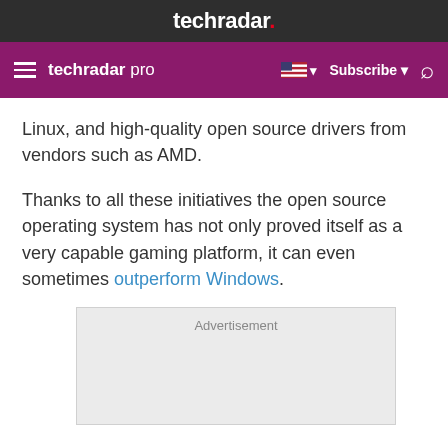techradar.
techradar pro  🇺🇸 ▾  Subscribe ▾  🔍
Linux, and high-quality open source drivers from vendors such as AMD.
Thanks to all these initiatives the open source operating system has not only proved itself as a very capable gaming platform, it can even sometimes outperform Windows.
[Figure (other): Advertisement placeholder box]